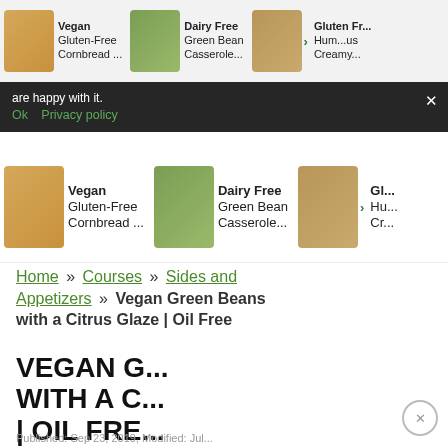[Figure (screenshot): Top carousel strip showing food recipe cards: Vegan Gluten-Free Cornbread, Dairy Free Green Bean Casserole, Gluten Free Hummus Creamy]
are happy with it.
Ok   Privacy policy   ×
[Figure (screenshot): Second carousel strip showing food recipe cards: Vegan Gluten-Free Cornbread, Dairy Free Green Bean Casserole, and partially visible third card]
Home » Courses » Sides and Appetizers » Vegan Green Beans with a Citrus Glaze | Oil Free
VEGAN GREEN BEANS WITH A CITRUS GLAZE | OIL FREE
DASH Air Fryer GIVEAWAY
Enter Giveaway ›
Published: Sep 23, 2019, Modified: Jul...